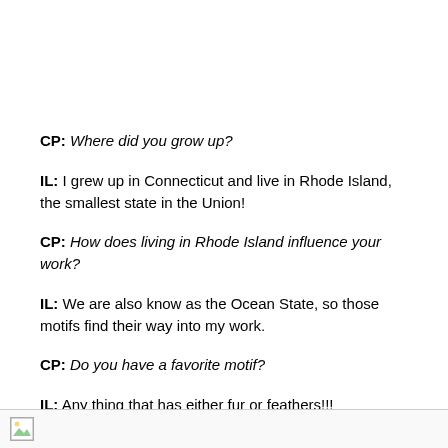CP: Where did you grow up?
IL: I grew up in Connecticut and live in Rhode Island, the smallest state in the Union!
CP: How does living in Rhode Island influence your work?
IL: We are also know as the Ocean State, so those motifs find their way into my work.
CP: Do you have a favorite motif?
IL: Any thing that has either fur or feathers!!!
[Figure (photo): Broken/placeholder image thumbnail at the bottom of the page]